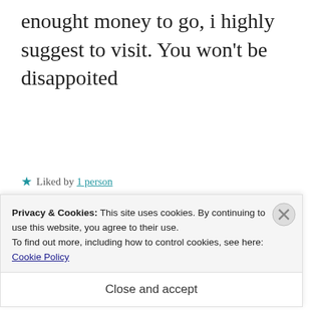enought money to go, i highly suggest to visit. You won't be disappoited
★ Liked by 1 person
REPLY
[Figure (photo): Red background advertisement image showing a smartphone with a podcast/audio app displayed, with a 'Download now' button in the top right corner.]
Privacy & Cookies: This site uses cookies. By continuing to use this website, you agree to their use.
To find out more, including how to control cookies, see here: Cookie Policy
Close and accept